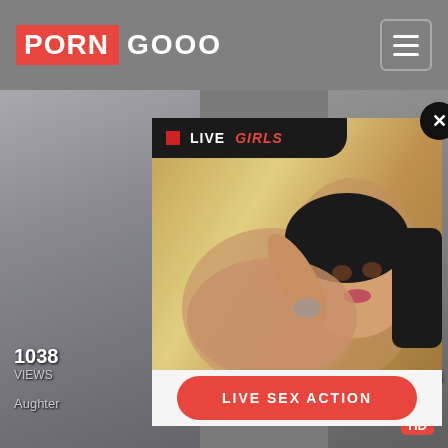PORN GOOO
[Figure (screenshot): Adult website screenshot showing PORNGOOO header with logo and hamburger menu, background video thumbnails, view count 1038 VIEWS, partial text Aughter, timer 10:4, HD badge, and a popup advertisement with LIVE GIRLS banner, a photo of a woman, and a LIVE SEX ACTION call-to-action button with close X button]
1038
VIEWS
Aughter
10:4
HD
LIVE GIRLS
LIVE SEX ACTION